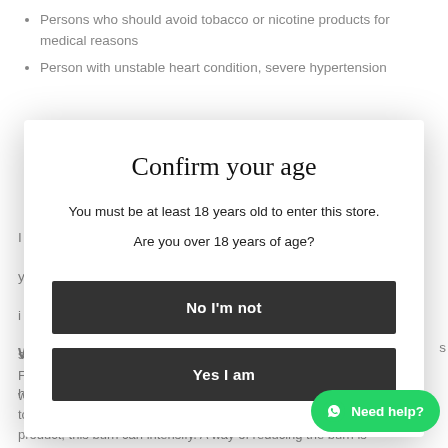Persons who should avoid tobacco or nicotine products for medical reasons
Person with unstable heart condition, severe hypertension
Confirm your age
You must be at least 18 years old to enter this store.
Are you over 18 years of age?
No I'm not
Yes I am
gradually reduce as the body's oral sy... to the product. Depending on the nicotine strength of the product, this burn can intensify. A way of reducing the burn is